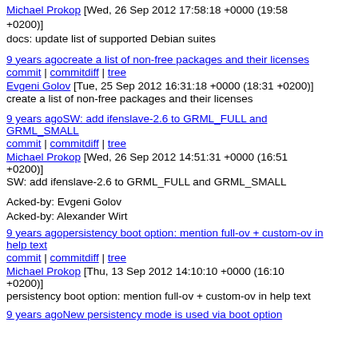Michael Prokop [Wed, 26 Sep 2012 17:58:18 +0000 (19:58 +0200)]
docs: update list of supported Debian suites
9 years agocreate a list of non-free packages and their licenses
commit | commitdiff | tree
Evgeni Golov [Tue, 25 Sep 2012 16:31:18 +0000 (18:31 +0200)]
create a list of non-free packages and their licenses
9 years agoSW: add ifenslave-2.6 to GRML_FULL and GRML_SMALL
commit | commitdiff | tree
Michael Prokop [Wed, 26 Sep 2012 14:51:31 +0000 (16:51 +0200)]
SW: add ifenslave-2.6 to GRML_FULL and GRML_SMALL
Acked-by: Evgeni Golov
Acked-by: Alexander Wirt
9 years agopersistency boot option: mention full-ov + custom-ov in help text
commit | commitdiff | tree
Michael Prokop [Thu, 13 Sep 2012 14:10:10 +0000 (16:10 +0200)]
persistency boot option: mention full-ov + custom-ov in help text
9 years agoNew persistency mode is used via boot option